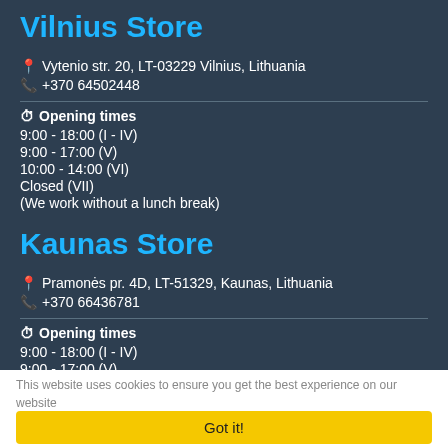Vilnius Store
📍 Vytenio str. 20, LT-03229 Vilnius, Lithuania
📞 +370 64502448
⏰ Opening times
9:00 - 18:00 (I - IV)
9:00 - 17:00 (V)
10:00 - 14:00 (VI)
Closed (VII)
(We work without a lunch break)
Kaunas Store
📍 Pramonės pr. 4D, LT-51329, Kaunas, Lithuania
📞 +370 66436781
⏰ Opening times
9:00 - 18:00 (I - IV)
9:00 - 17:00 (V)
10:00 - 14:00 (VI)
Closed (VII)
This website uses cookies to ensure you get the best experience on our website
Got it!